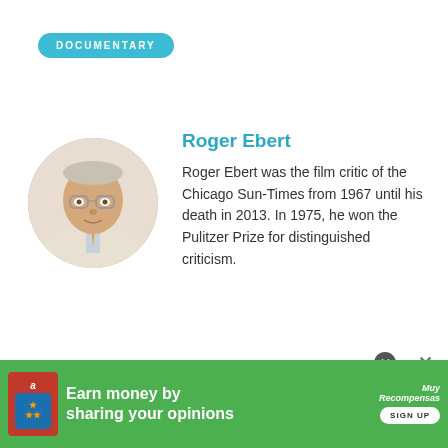DOCUMENTARY
[Figure (photo): Circular portrait photo of Roger Ebert, an older man with glasses wearing a light jacket and yellow tie, looking upward]
Roger Ebert
Roger Ebert was the film critic of the Chicago Sun-Times from 1967 until his death in 2013. In 1975, he won the Pulitzer Prize for distinguished criticism.
[Figure (infographic): Advertisement banner: green background with 'Earn money by sharing your opinions' text and a Sign Up button, with Amazon and MuyRecompensas logos]